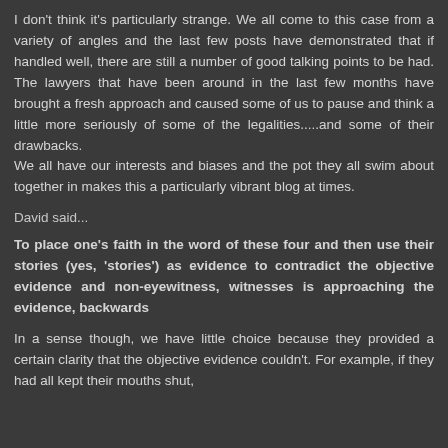I don't think it's particularly strange. We all come to this case from a variety of angles and the last few posts have demonstrated that if handled well, there are still a number of good talking points to be had. The lawyers that have been around in the last few months have brought a fresh approach and caused some of us to pause and think a little more seriously of some of the legalities.....and some of their drawbacks.
We all have our interests and biases and the pot they all swim about together in makes this a particularly vibrant blog at times.
David said...
To place one's faith in the word of these four and then use their stories (yes, 'stories') as evidence to contradict the objective evidence and non-eyewitness, witnesses is approaching the evidence, backwards
In a sense though, we have little choice because they provided a certain clarity that the objective evidence couldn't. For example, if they had all kept their mouths shut,